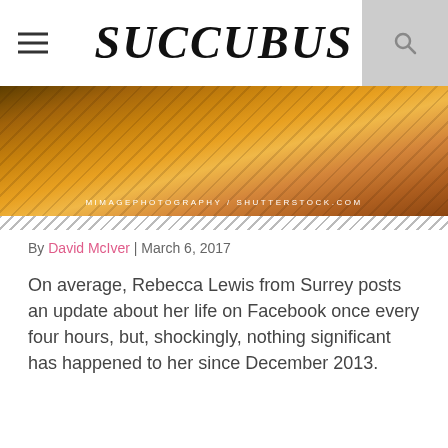SUCCUBUS
[Figure (photo): Cropped food/lifestyle photo, warm orange and yellow tones, with photo credit overlay: MIMAGEPHOTOGRAPHY / SHUTTERSTOCK.COM]
MIMAGEPHOTOGRAPHY / SHUTTERSTOCK.COM
By David McIver | March 6, 2017
On average, Rebecca Lewis from Surrey posts an update about her life on Facebook once every four hours, but, shockingly, nothing significant has happened to her since December 2013.